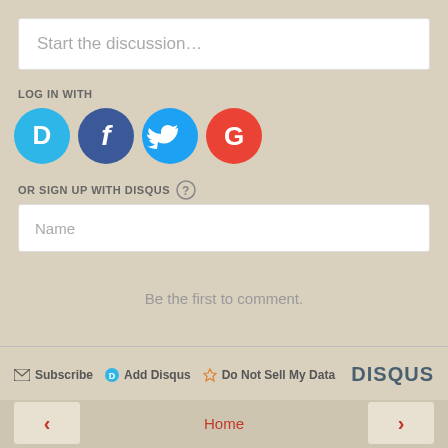Start the discussion…
LOG IN WITH
[Figure (infographic): Four social login icons: Disqus (blue circle with D), Facebook (dark blue circle with f), Twitter (light blue circle with bird), Google (red circle with G)]
OR SIGN UP WITH DISQUS ?
Name
Be the first to comment.
Subscribe  Add Disqus  Do Not Sell My Data  DISQUS
< Home >